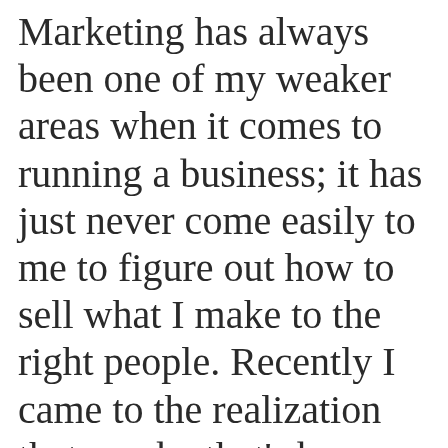Marketing has always been one of my weaker areas when it comes to running a business; it has just never come easily to me to figure out how to sell what I make to the right people. Recently I came to the realization that maybe that's because I was trying to make my business fit into someone else's idea of what a marketing should